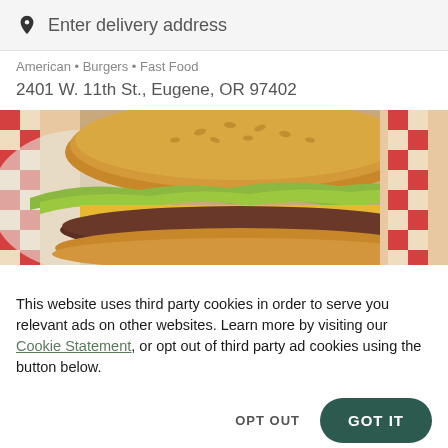Enter delivery address
American • Burgers • Fast Food
2401 W. 11th St., Eugene, OR 97402
[Figure (photo): Close-up photo of a hamburger with sesame seed bun, lettuce, cheese, and patty on red and white checkered paper]
This website uses third party cookies in order to serve you relevant ads on other websites. Learn more by visiting our Cookie Statement, or opt out of third party ad cookies using the button below.
OPT OUT
GOT IT